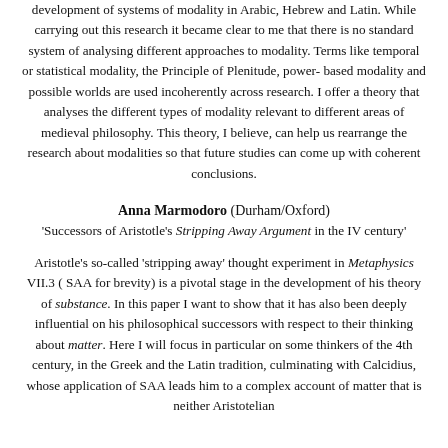development of systems of modality in Arabic, Hebrew and Latin. While carrying out this research it became clear to me that there is no standard system of analysing different approaches to modality. Terms like temporal or statistical modality, the Principle of Plenitude, power-based modality and possible worlds are used incoherently across research. I offer a theory that analyses the different types of modality relevant to different areas of medieval philosophy. This theory, I believe, can help us rearrange the research about modalities so that future studies can come up with coherent conclusions.
Anna Marmodoro (Durham/Oxford)
'Successors of Aristotle's Stripping Away Argument in the IV century'
Aristotle's so-called 'stripping away' thought experiment in Metaphysics VII.3 ( SAA for brevity) is a pivotal stage in the development of his theory of substance. In this paper I want to show that it has also been deeply influential on his philosophical successors with respect to their thinking about matter. Here I will focus in particular on some thinkers of the 4th century, in the Greek and the Latin tradition, culminating with Calcidius, whose application of SAA leads him to a complex account of matter that is neither Aristotelian